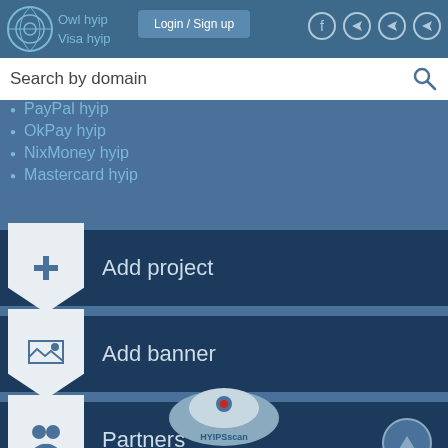Owl hyip | Visa hyip | Login / Sign up
Search by domain
PayPal hyip
OkPay hyip
NixMoney hyip
Mastercard hyip
Add project
Add banner
Partners
Contact Us
[Figure (illustration): Robot/avatar mascot at the bottom of the page]